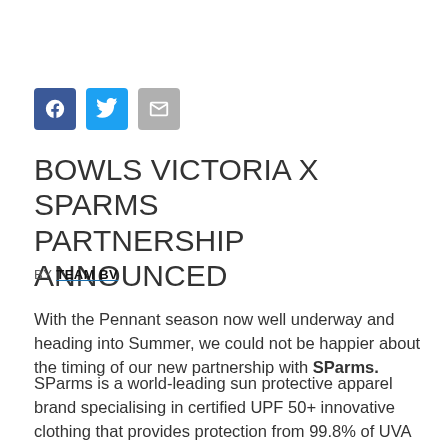[Figure (other): Social media sharing icons: Facebook (blue), Twitter (light blue), Email (grey)]
BOWLS VICTORIA X SPARMS PARTNERSHIP ANNOUNCED
BY TEAM BV
With the Pennant season now well underway and heading into Summer, we could not be happier about the timing of our new partnership with SParms.
SParms is a world-leading sun protective apparel brand specialising in certified UPF 50+ innovative clothing that provides protection from 99.8% of UVA and UVB rays. Industry leaders for over a decade, SParms' innovative sun protection clothing offers a total rethink of the way